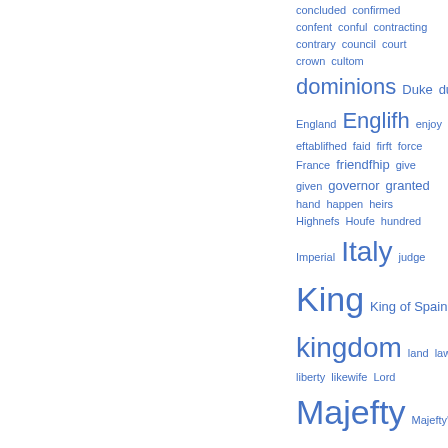[Figure (other): Tag cloud (word cloud) with legal/historical treaty terms in varying sizes, all in blue. Words include: concluded, confirmed, confent, conful, contracting, contrary, council, court, crown, cultom, dominions, Duke, duties, England, Englifh, enjoy, eftablifhed, faid, firft, force, France, friendfhip, give, given, governor, granted, hand, happen, heirs, Highnefs, Houfe, hundred, Imperial, Italy, judge, King, King of Spain, kingdom, land, lawful, liberty, likewife, Lord, Majefty, Majefty's, manner, merchants, minifters, month, moft, moft]